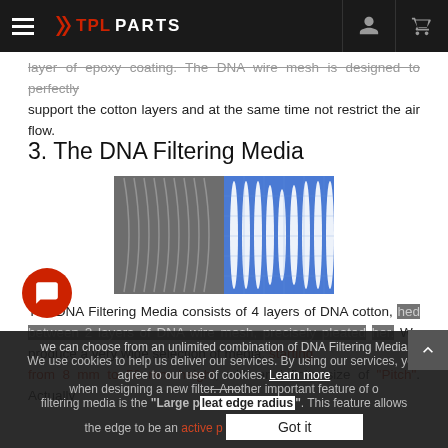TPL PARTS
layer of epoxy coating. The DNA wire mesh is designed to perfectly support the cotton layers and at the same time not restrict the air flow.
3. The DNA Filtering Media
[Figure (photo): Close-up photo of DNA filtering media showing pleated filter material layers — grey pleated media on left and white mesh-supported pleated media on right against blue background]
The DNA Filtering Media consists of 4 layers of DNA cotton, sandwiched between 2 layers of DNA wire mesh, precisely pleated together. We produce a very wide selection of media, starting from 8 mm to 50 mm height, with an infinite size of "Pitch". Actually we can choose from an unlimited combination of DNA Filtering Media when designing a new filter. Another important feature of our filtering media is the "Large pleat edge radius". This feature allows the edge to be an active part of the filtering media, instead of a
We use cookies to help us deliver our services. By using our services, you agree to our use of cookies. Learn more